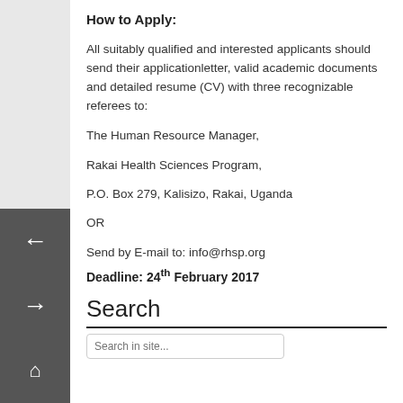How to Apply:
All suitably qualified and interested applicants should send their applicationletter, valid academic documents and detailed resume (CV) with three recognizable referees to:
The Human Resource Manager,
Rakai Health Sciences Program,
P.O. Box 279, Kalisizo, Rakai, Uganda
OR
Send by E-mail to: info@rhsp.org
Deadline: 24th February 2017
Search